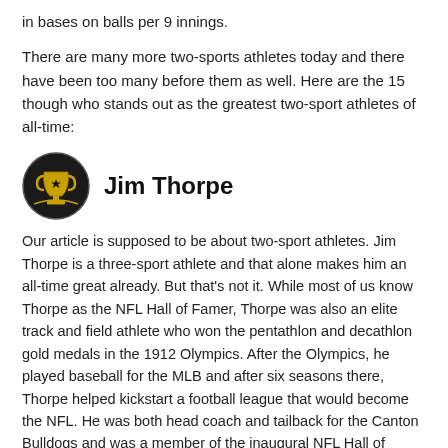in bases on balls per 9 innings.
There are many more two-sports athletes today and there have been too many before them as well. Here are the 15 though who stands out as the greatest two-sport athletes of all-time:
Jim Thorpe
Our article is supposed to be about two-sport athletes. Jim Thorpe is a three-sport athlete and that alone makes him an all-time great already. But that's not it. While most of us know Thorpe as the NFL Hall of Famer, Thorpe was also an elite track and field athlete who won the pentathlon and decathlon gold medals in the 1912 Olympics. After the Olympics, he played baseball for the MLB and after six seasons there, Thorpe helped kickstart a football league that would become the NFL. He was both head coach and tailback for the Canton Bulldogs and was a member of the inaugural NFL Hall of Fame class.
Bo Jackson